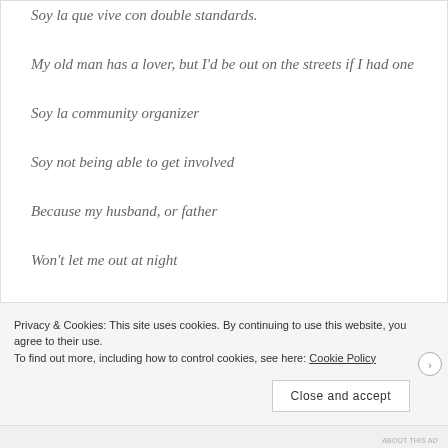Soy la que vive con double standards.
My old man has a lover, but I'd be out on the streets if I had one
Soy la community organizer
Soy not being able to get involved
Because my husband, or father
Won't let me out at night
Privacy & Cookies: This site uses cookies. By continuing to use this website, you agree to their use.
To find out more, including how to control cookies, see here: Cookie Policy
Close and accept